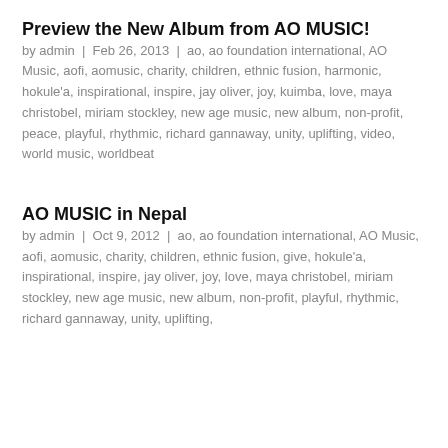Preview the New Album from AO MUSIC!
by admin | Feb 26, 2013 | ao, ao foundation international, AO Music, aofi, aomusic, charity, children, ethnic fusion, harmonic, hokule'a, inspirational, inspire, jay oliver, joy, kuimba, love, maya christobel, miriam stockley, new age music, new album, non-profit, peace, playful, rhythmic, richard gannaway, unity, uplifting, video, world music, worldbeat
AO MUSIC in Nepal
by admin | Oct 9, 2012 | ao, ao foundation international, AO Music, aofi, aomusic, charity, children, ethnic fusion, give, hokule'a, inspirational, inspire, jay oliver, joy, love, maya christobel, miriam stockley, new age music, new album, non-profit, playful, rhythmic, richard gannaway, unity, uplifting, video, world music, worldbeat